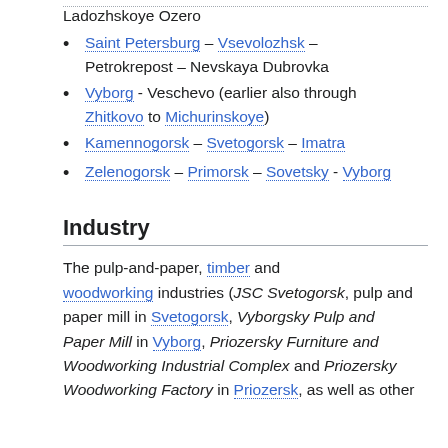Ladozhskoye Ozero
Saint Petersburg – Vsevolozhsk – Petrokrepost – Nevskaya Dubrovka
Vyborg - Veschevo (earlier also through Zhitkovo to Michurinskoye)
Kamennogorsk – Svetogorsk – Imatra
Zelenogorsk – Primorsk – Sovetsky - Vyborg
Industry
The pulp-and-paper, timber and woodworking industries (JSC Svetogorsk, pulp and paper mill in Svetogorsk, Vyborgsky Pulp and Paper Mill in Vyborg, Priozersky Furniture and Woodworking Industrial Complex and Priozersky Woodworking Factory in Priozersk, as well as other